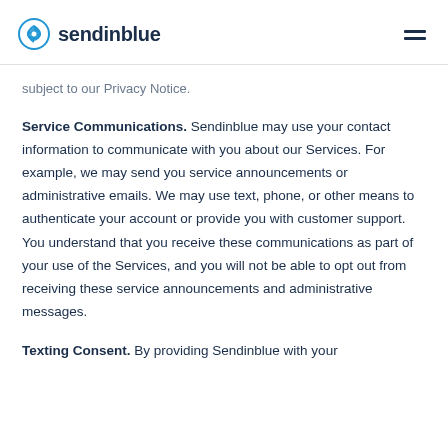sendinblue
subject to our Privacy Notice.
Service Communications. Sendinblue may use your contact information to communicate with you about our Services. For example, we may send you service announcements or administrative emails. We may use text, phone, or other means to authenticate your account or provide you with customer support. You understand that you receive these communications as part of your use of the Services, and you will not be able to opt out from receiving these service announcements and administrative messages.
Texting Consent. By providing Sendinblue with your